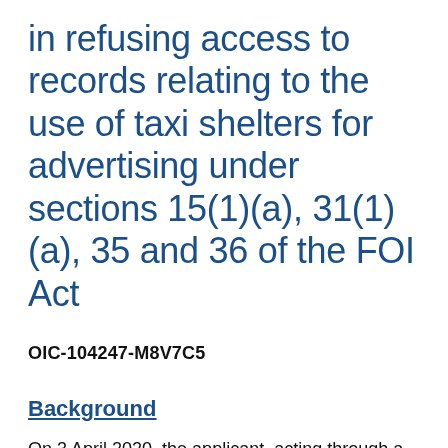in refusing access to records relating to the use of taxi shelters for advertising under sections 15(1)(a), 31(1)(a), 35 and 36 of the FOI Act
OIC-104247-M8V7C5
Background
On 3 April 2020, the applicant, acting through a solicitor, made an FOI request to the Council for